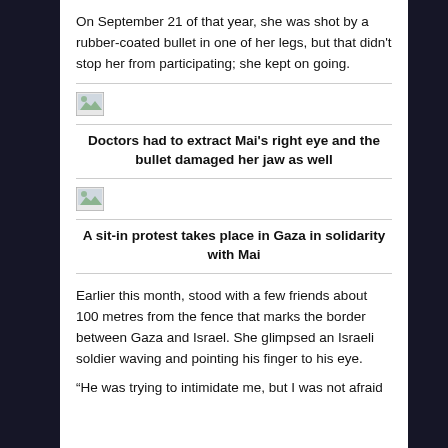On September 21 of that year, she was shot by a rubber-coated bullet in one of her legs, but that didn't stop her from participating; she kept on going.
[Figure (photo): Broken image icon placeholder for a photo]
Doctors had to extract Mai's right eye and the bullet damaged her jaw as well
[Figure (photo): Broken image icon placeholder for a photo]
A sit-in protest takes place in Gaza in solidarity with Mai
Earlier this month, stood with a few friends about 100 metres from the fence that marks the border between Gaza and Israel. She glimpsed an Israeli soldier waving and pointing his finger to his eye.
“He was trying to intimidate me, but I was not afraid